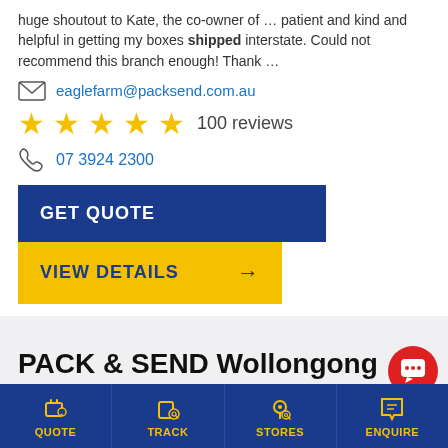huge shoutout to Kate, the co-owner of … patient and kind and helpful in getting my boxes shipped interstate. Could not recommend this branch enough! Thank …
eaglefarm@packsend.com.au
★★★★★ 100 reviews
07 3924 2300
GET QUOTE
VIEW DETAILS →
PACK & SEND Wollongong
1/46 Montague Street, North Wollongong, WOLLONGONG, NSW,
QUOTE | TRACK | STORES | ENQUIRE